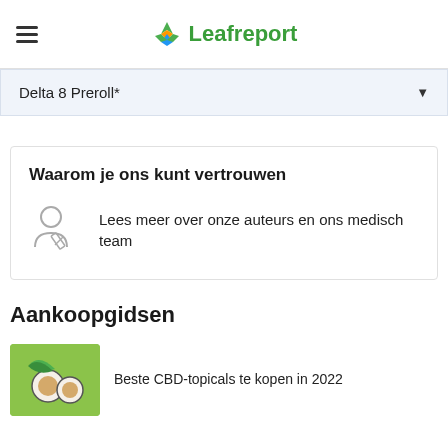Leafreport
Delta 8 Preroll*
Waarom je ons kunt vertrouwen
Lees meer over onze auteurs en ons medisch team
Aankoopgidsen
Beste CBD-topicals te kopen in 2022